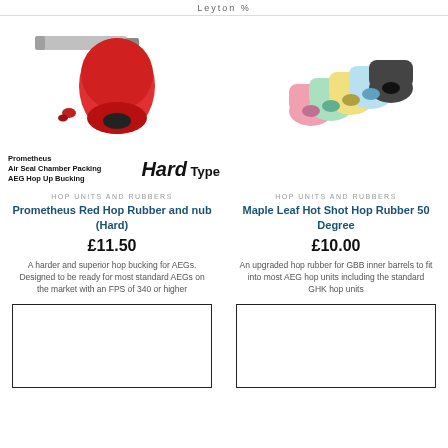Leyton %
[Figure (photo): Prometheus Red Hop Rubber and nub (Hard) product photo showing red rubber hop-up bucking and nub with metal barrel]
[Figure (photo): Maple Leaf Hot Shot Hop Rubber 50 Degree product photo showing multiple colorful hop-up buckings in various colors]
Prometheus Air Seal Chamber Packing AEG Hop Up Bucking Hard Type
HOP UNITS AND RUBBERS
Prometheus Red Hop Rubber and nub (Hard)
£11.50
A harder and superior hop bucking for AEGs. Designed to be ready for most standard AEGs on the market with an FPS of 340 or higher
HOP UNITS AND RUBBERS
Maple Leaf Hot Shot Hop Rubber 50 Degree
£10.00
An upgraded hop rubber for GBB inner barrels to fit into most AEG hop units including the standard GHK hop units
[Figure (other): Empty placeholder box left column]
[Figure (other): Empty placeholder box right column]